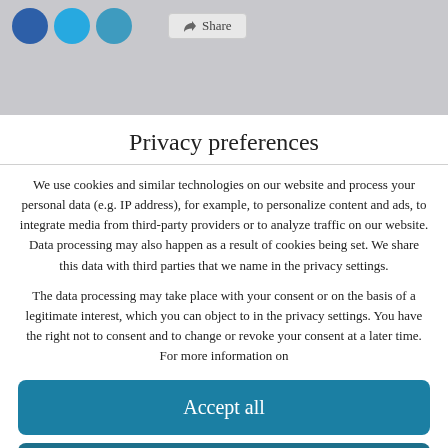[Figure (screenshot): Dimmed website background with social sharing icons (Facebook, Twitter, LinkedIn circles) and a Share button]
Privacy preferences
We use cookies and similar technologies on our website and process your personal data (e.g. IP address), for example, to personalize content and ads, to integrate media from third-party providers or to analyze traffic on our website. Data processing may also happen as a result of cookies being set. We share this data with third parties that we name in the privacy settings.
The data processing may take place with your consent or on the basis of a legitimate interest, which you can object to in the privacy settings. You have the right not to consent and to change or revoke your consent at a later time. For more information on
Accept all
Continue without consent
Set privacy settings individually
Privacy policy • Imprint Cookie Consent with Real Cookie Banner